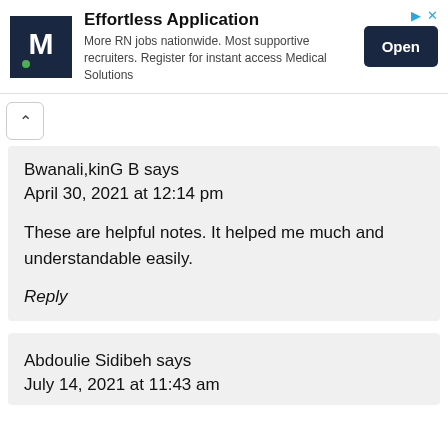[Figure (other): Advertisement banner for Medical Solutions featuring 'M' logo, title 'Effortless Application', description text, and an 'Open' button]
Bwanali,kinG B says
April 30, 2021 at 12:14 pm
These are helpful notes. It helped me much and understandable easily.
Reply
Abdoulie Sidibeh says
July 14, 2021 at 11:43 am